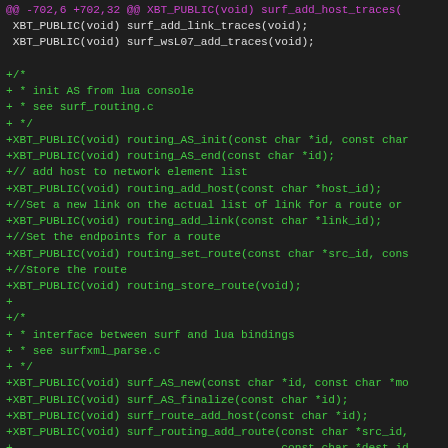[Figure (screenshot): A code diff screenshot showing source code additions in a C/header file. The top lines are in magenta (context lines) and the added lines beginning with '+' are in green. The background is dark (dark editor theme). The code shows function declarations for XBT_PUBLIC routing and surf functions.]